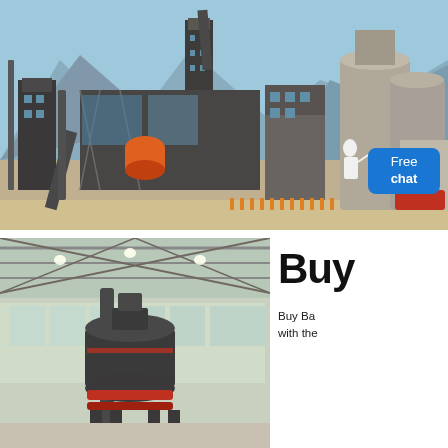[Figure (photo): Outdoor industrial plant facility with large silos, steel frame structures, conveyor towers, and dust collector against a mountain backdrop. A woman in white coat stands near silos. A blue 'Free chat' button overlay in bottom-right of image.]
[Figure (photo): Indoor photo of a vertical industrial crusher or mill machine inside a metal-roofed warehouse building, with red ring detail on the machine base.]
Buy
Buy Ba
with the